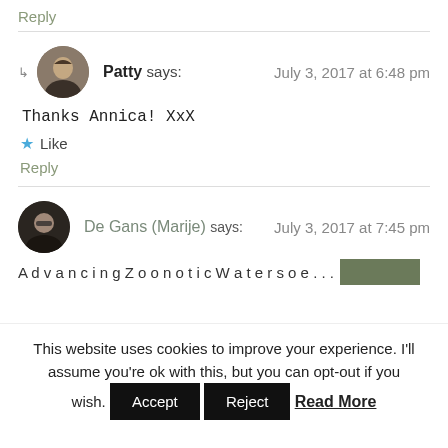Reply
Patty says: July 3, 2017 at 6:48 pm
Thanks Annica! XxX
Like
Reply
De Gans (Marije) says: July 3, 2017 at 7:45 pm
This website uses cookies to improve your experience. I'll assume you're ok with this, but you can opt-out if you wish. Accept Reject Read More